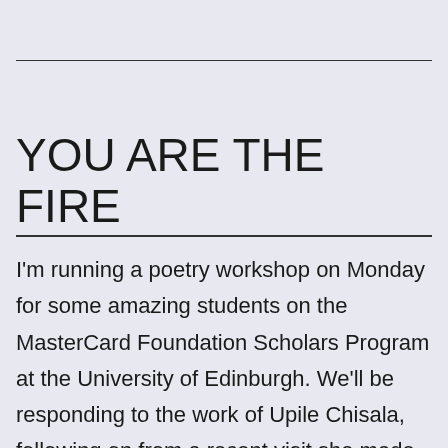YOU ARE THE FIRE
I'm running a poetry workshop on Monday for some amazing students on the MasterCard Foundation Scholars Program at the University of Edinburgh. We'll be responding to the work of Upile Chisala, following on from a recent visit she made to read for the students. I'm feeling very inspired by Upile's